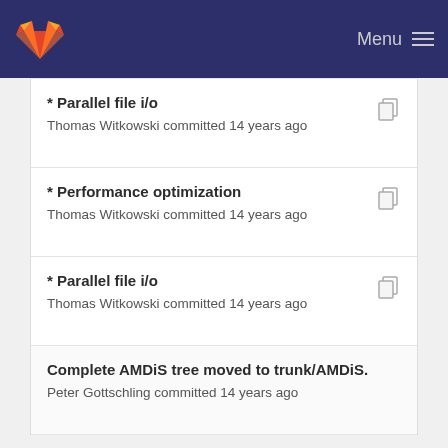Menu
* Parallel file i/o
Thomas Witkowski committed 14 years ago
* Performance optimization
Thomas Witkowski committed 14 years ago
* Parallel file i/o
Thomas Witkowski committed 14 years ago
Complete AMDiS tree moved to trunk/AMDiS.
Peter Gottschling committed 14 years ago